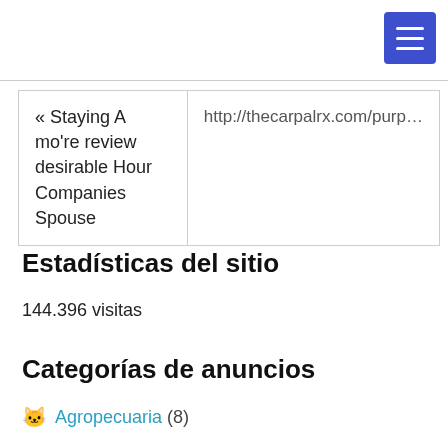[Figure (other): Blue hamburger menu button in top-right corner]
| « Staying A mo're review desirable Hour Companies Spouse | http://thecarpalrx.com/purp... |
Estadísticas del sitio
144.396 visitas
Categorías de anuncios
🐱 Agropecuaria (8)